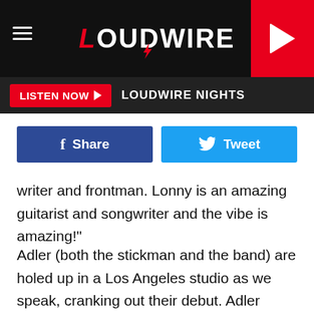LOUDWIRE
LISTEN NOW  LOUDWIRE NIGHTS
Share   Tweet
writer and frontman. Lonny is an amazing guitarist and songwriter and the vibe is amazing!"
Adler (both the stickman and the band) are holed up in a Los Angeles studio as we speak, cranking out their debut. Adler shared photos from the studio via Facebook and revealed that fa[redacted]hey will regula[redacted]'s eye